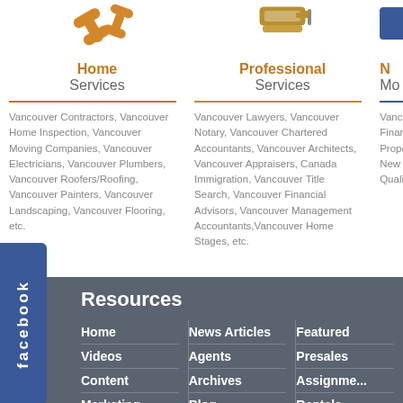[Figure (illustration): Orange wrench/tool icon for Home Services]
Home
Services
Vancouver Contractors, Vancouver Home Inspection, Vancouver Moving Companies, Vancouver Electricians, Vancouver Plumbers, Vancouver Roofers/Roofing, Vancouver Painters, Vancouver Landscaping, Vancouver Flooring, etc.
[Figure (illustration): Gold/orange paint roller icon for Professional Services]
Professional
Services
Vancouver Lawyers, Vancouver Notary, Vancouver Chartered Accountants, Vancouver Architects, Vancouver Appraisers, Canada Immigration, Vancouver Title Search, Vancouver Financial Advisors, Vancouver Management Accountants,Vancouver Home Stages, etc.
[Figure (illustration): Blue icon partially visible for a third category]
N...
Mo...
Vancouve... Financing... Property,... New Imm... Qualify, r...
[Figure (logo): Facebook tab/button on the left side]
Resources
Home
Videos
Content
Marketing
News Articles
Agents
Archives
Blog
Featured
Presales
Assignme...
Rentals